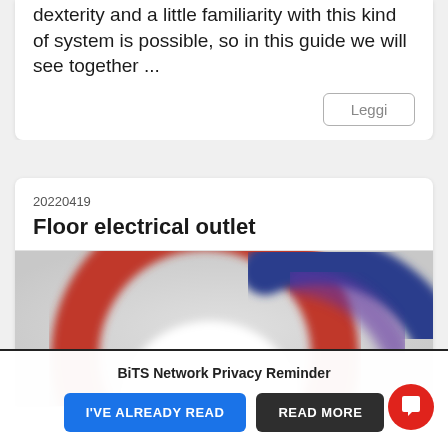dexterity and a little familiarity with this kind of system is possible, so in this guide we will see together ...
Leggi
20220419
Floor electrical outlet
[Figure (photo): Cropped photo showing a circular floor electrical outlet with red and blue cable connectors, shown from above with blurred edges.]
BiTS Network Privacy Reminder
I'VE ALREADY READ
READ MORE